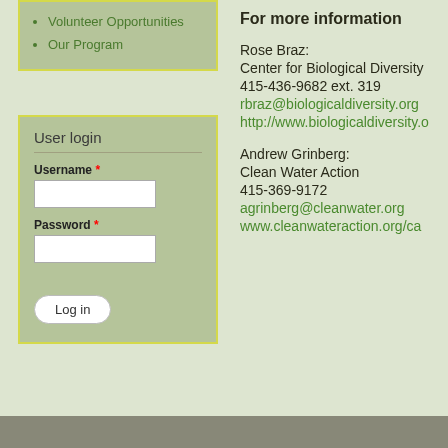Volunteer Opportunities
Our Program
User login
Username *
Password *
For more information
Rose Braz:
Center for Biological Diversity
415-436-9682 ext. 319
rbraz@biologicaldiversity.org
http://www.biologicaldiversity.o
Andrew Grinberg:
Clean Water Action
415-369-9172
agrinberg@cleanwater.org
www.cleanwateraction.org/ca